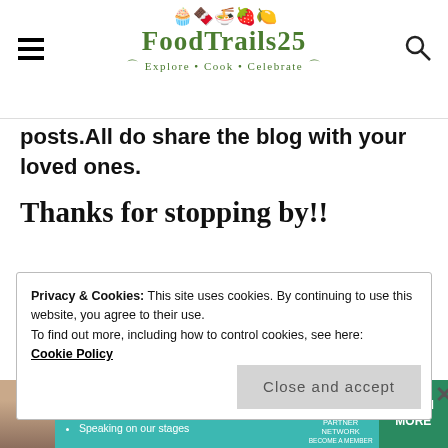FoodTrails25 — Explore • Cook • Celebrate
posts.All do share the blog with your loved ones.
Thanks for stopping by!!
Privacy & Cookies: This site uses cookies. By continuing to use this website, you agree to their use. To find out more, including how to control cookies, see here: Cookie Policy
Close and accept
LIKE THIS:
[Figure (infographic): SHE Partner Network advertisement banner with woman photo, bullet points about earning site & social revenue, traffic growth, speaking on stages, SHE logo, and LEARN MORE button]